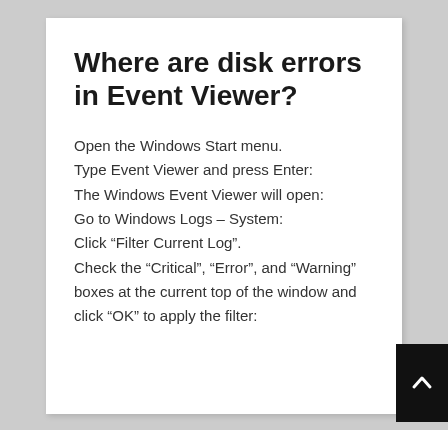Where are disk errors in Event Viewer?
Open the Windows Start menu.
Type Event Viewer and press Enter:
The Windows Event Viewer will open:
Go to Windows Logs – System:
Click “Filter Current Log”.
Check the “Critical”, “Error”, and “Warning” boxes at the current top of the window and click “OK” to apply the filter: